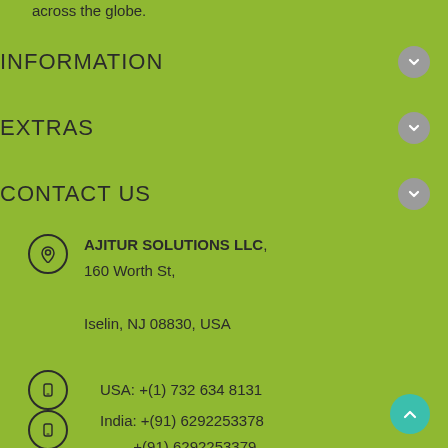across the globe.
INFORMATION
EXTRAS
CONTACT US
AJITUR SOLUTIONS LLC, 160 Worth St, Iselin, NJ 08830, USA
USA: +(1) 732 634 8131
India: +(91) 6292253378
+(91) 6292253379
support@matritouch.com
sukanto@ajitur.com